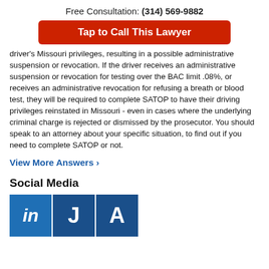Free Consultation: (314) 569-9882
Tap to Call This Lawyer
driver's Missouri privileges, resulting in a possible administrative suspension or revocation. If the driver receives an administrative suspension or revocation for testing over the BAC limit .08%, or receives an administrative revocation for refusing a breath or blood test, they will be required to complete SATOP to have their driving privileges reinstated in Missouri - even in cases where the underlying criminal charge is rejected or dismissed by the prosecutor. You should speak to an attorney about your specific situation, to find out if you need to complete SATOP or not.
View More Answers ›
Social Media
[Figure (logo): Social media icons: LinkedIn (in), J, A on blue backgrounds]